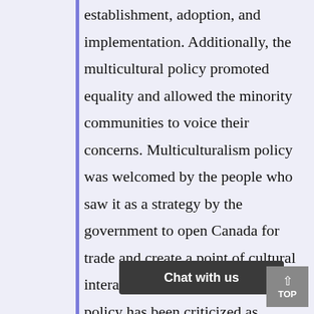establishment, adoption, and implementation. Additionally, the multicultural policy promoted equality and allowed the minority communities to voice their concerns. Multiculturalism policy was welcomed by the people who saw it as a strategy by the government to open Canada for trade and create a point of cultural interaction. Unfortunately, the policy has been criticized as lacking substance and seen to [majority